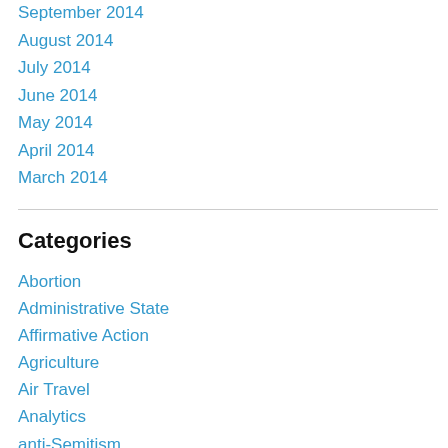September 2014
August 2014
July 2014
June 2014
May 2014
April 2014
March 2014
Categories
Abortion
Administrative State
Affirmative Action
Agriculture
Air Travel
Analytics
anti-Semitism
Antitrust
Architecture
Art